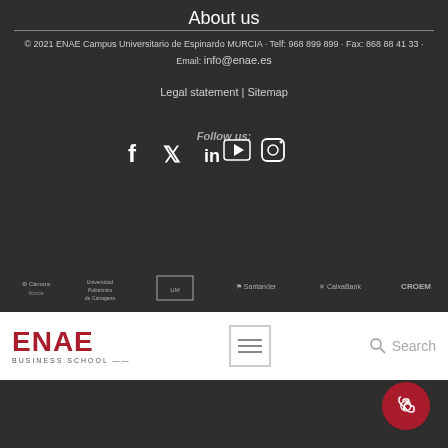About us
© 2021 ENAE Campus Universitario de Espinardo MURCIA · Telf: 968 899 899 · Fax: 868 88 41 33 · Email: info@enae.es
Legal statement | Sitemap
Follow us:
[Figure (infographic): Social media icons: Facebook, Twitter, LinkedIn, YouTube, Instagram]
[Figure (logo): Partner logos bar: Cámara, Universidad Politécnica de Cartagena, Universidad de Murcia, Santander, CaixaBank, CROEM]
[Figure (logo): ENAE Business School logo in red text]
[Figure (illustration): WhatsApp contact button, dark red circular button with phone icon]